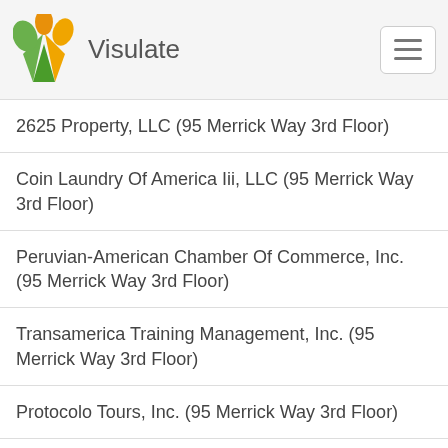Visulate
2625 Property, LLC (95 Merrick Way 3rd Floor)
Coin Laundry Of America Iii, LLC (95 Merrick Way 3rd Floor)
Peruvian-American Chamber Of Commerce, Inc. (95 Merrick Way 3rd Floor)
Transamerica Training Management, Inc. (95 Merrick Way 3rd Floor)
Protocolo Tours, Inc. (95 Merrick Way 3rd Floor)
Title Company Of America, Inc. (95 Merrick Way 3rd Floor)
Law Offices Of Anibal J. Duarte-Viera, P.A. (95 Merrick Way 3rd Floor)
Break The Format Foundation Corp. (95 Merrick Way Third Floor)
Caribbean Journal LLC (95 Merrick Way)